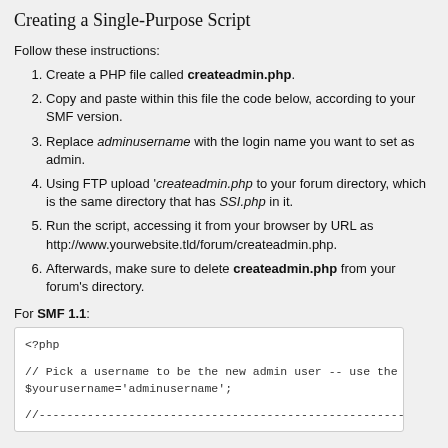Creating a Single-Purpose Script
Follow these instructions:
Create a PHP file called createadmin.php.
Copy and paste within this file the code below, according to your SMF version.
Replace adminusername with the login name you want to set as admin.
Using FTP upload 'createadmin.php to your forum directory, which is the same directory that has SSI.php in it.
Run the script, accessing it from your browser by URL as http://www.yourwebsite.tld/forum/createadmin.php.
Afterwards, make sure to delete createadmin.php from your forum's directory.
For SMF 1.1:
[Figure (screenshot): Code block showing PHP script: <?php followed by comment and $yourusername='adminusername'; and a dashed comment line]